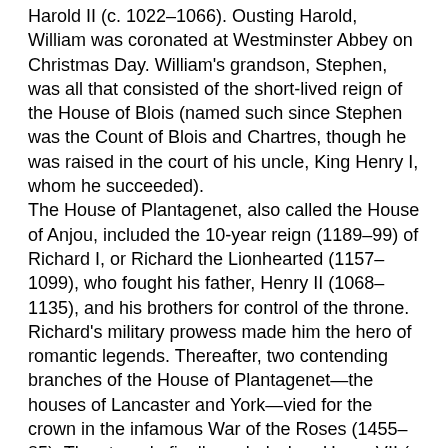Harold II (c. 1022–1066). Ousting Harold, William was coronated at Westminster Abbey on Christmas Day. William's grandson, Stephen, was all that consisted of the short-lived reign of the House of Blois (named such since Stephen was the Count of Blois and Chartres, though he was raised in the court of his uncle, King Henry I, whom he succeeded). The House of Plantagenet, also called the House of Anjou, included the 10-year reign (1189–99) of Richard I, or Richard the Lionhearted (1157–1099), who fought his father, Henry II (1068–1135), and his brothers for control of the throne. Richard's military prowess made him the hero of romantic legends. Thereafter, two contending branches of the House of Plantagenet—the houses of Lancaster and York—vied for the crown in the infamous War of the Roses (1455–85). The struggle finally ended when Henry VII (a Lancaster) ascended the throne and married into the House of York, reuniting the two sides of the family under the newly minted House of Tudor. The Tudors were a famous lot, remembered for the reigns of Henry VIII (1509–47) and his daughters, Mary I (1553 to 1558) and Elizabeth I (1558–1603). The Tudors were followed by the Stuarts, whose reign was interrupted by the establishment of the Commonwealth and Protectorate under Oliver Cromwell (1599–1658). The house was restored to power, giving history the